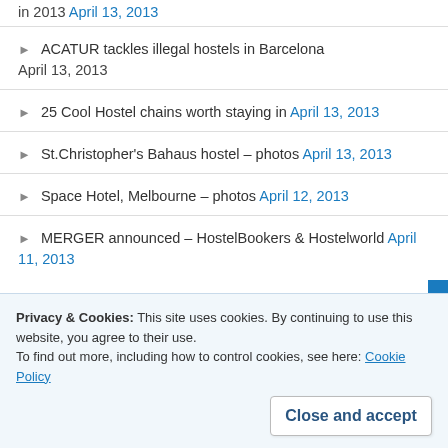in 2013 April 13, 2013
ACATUR tackles illegal hostels in Barcelona April 13, 2013
25 Cool Hostel chains worth staying in April 13, 2013
St.Christopher's Bahaus hostel – photos April 13, 2013
Space Hotel, Melbourne – photos April 12, 2013
MERGER announced – HostelBookers & Hostelworld April 11, 2013
Privacy & Cookies: This site uses cookies. By continuing to use this website, you agree to their use. To find out more, including how to control cookies, see here: Cookie Policy
Close and accept